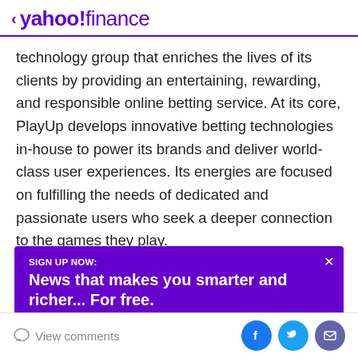< yahoo!finance
technology group that enriches the lives of its clients by providing an entertaining, rewarding, and responsible online betting service. At its core, PlayUp develops innovative betting technologies in-house to power its brands and deliver world-class user experiences. Its energies are focused on fulfilling the needs of dedicated and passionate users who seek a deeper connection to the games they play.
SIGN UP NOW:
News that makes you smarter and richer... For free.
View comments